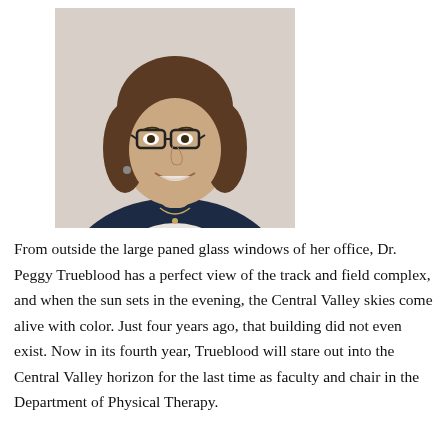[Figure (photo): Professional headshot portrait of Dr. Peggy Trueblood, a woman with shoulder-length brown hair wearing glasses, earrings, a necklace, white top, and dark navy blazer, smiling warmly against a light background.]
From outside the large paned glass windows of her office, Dr. Peggy Trueblood has a perfect view of the track and field complex, and when the sun sets in the evening, the Central Valley skies come alive with color. Just four years ago, that building did not even exist. Now in its fourth year, Trueblood will stare out into the Central Valley horizon for the last time as faculty and chair in the Department of Physical Therapy.